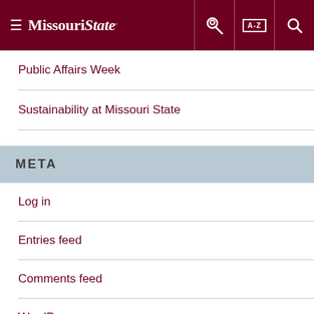Missouri State
Public Affairs Week
Sustainability at Missouri State
META
Log in
Entries feed
Comments feed
WordPress.org